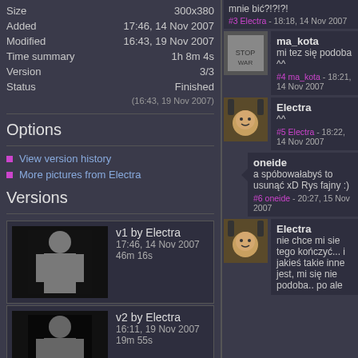| Property | Value |
| --- | --- |
| Size | 300x380 |
| Added | 17:46, 14 Nov 2007 |
| Modified | 16:43, 19 Nov 2007 |
| Time summary | 1h 8m 4s |
| Version | 3/3 |
| Status | Finished |
|  | (16:43, 19 Nov 2007) |
Options
View version history
More pictures from Electra
Versions
v1 by Electra
17:46, 14 Nov 2007
46m 16s
v2 by Electra
16:11, 19 Nov 2007
19m 55s
v3 by Electra
16:39, 19 Nov 2007
1m 53s
mnie bić?!?!?!
#3 Electra - 18:18, 14 Nov 2007
ma_kota
mi tez się podoba ^^
#4 ma_kota - 18:21, 14 Nov 2007
Electra
^^
#5 Electra - 18:22, 14 Nov 2007
oneide
a spóbowałabyś to usunąć xD Rys fajny :)
#6 oneide - 20:27, 15 Nov 2007
Electra
nie chce mi sie tego kończyć... i jakieś takie inne jest, mi się nie podoba.. po ale